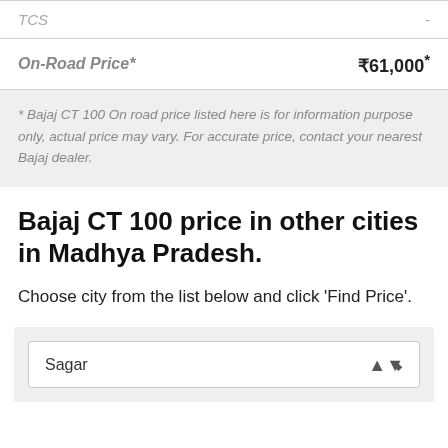| TCS | - |
| On-Road Price* | ₹61,000* |
* Bajaj CT 100 On road price listed here is for information purpose only, actual price may vary. For accurate price, contact your nearest Bajaj dealer.
Bajaj CT 100 price in other cities in Madhya Pradesh.
Choose city from the list below and click 'Find Price'.
Sagar